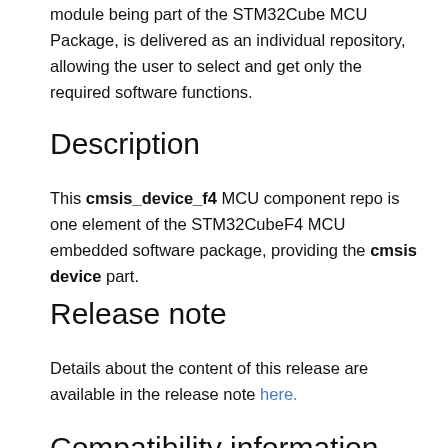module being part of the STM32Cube MCU Package, is delivered as an individual repository, allowing the user to select and get only the required software functions.
Description
This cmsis_device_f4 MCU component repo is one element of the STM32CubeF4 MCU embedded software package, providing the cmsis device part.
Release note
Details about the content of this release are available in the release note here.
Compatibility information
In this table, you can find the successive versions of this CMSIS Device component, in-line with the corresponding versions of the full MCU package: